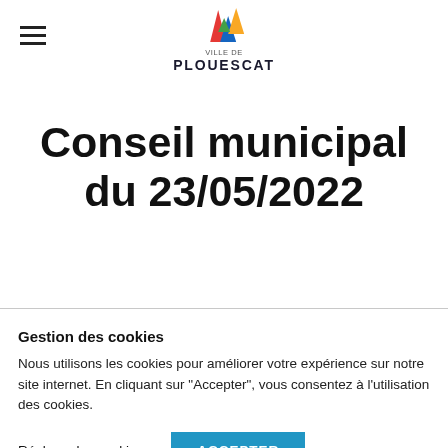[Figure (logo): Ville de Plouescat logo with colorful triangle/sail shapes above text VILLE DE PLOUESCAT]
Conseil municipal du 23/05/2022
Gestion des cookies
Nous utilisons les cookies pour améliorer votre expérience sur notre site internet. En cliquant sur "Accepter", vous consentez à l'utilisation des cookies.
Réglage des cookies | ACCEPTER